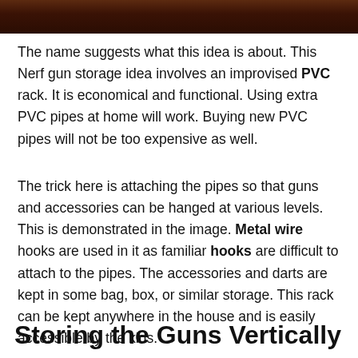[Figure (photo): Dark brown/red toned photo strip at the top of the page showing a partial view of Nerf gun storage rack]
The name suggests what this idea is about. This Nerf gun storage idea involves an improvised PVC rack. It is economical and functional. Using extra PVC pipes at home will work. Buying new PVC pipes will not be too expensive as well.
The trick here is attaching the pipes so that guns and accessories can be hanged at various levels. This is demonstrated in the image. Metal wire hooks are used in it as familiar hooks are difficult to attach to the pipes. The accessories and darts are kept in some bag, box, or similar storage. This rack can be kept anywhere in the house and is easily accessible by the kids.
Storing the Guns Vertically